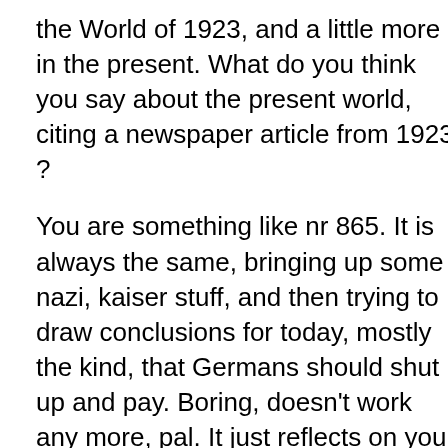the World of 1923, and a little more in the present. What do you think you say about the present world, citing a newspaper article from 1923 ?
You are something like nr 865. It is always the same, bringing up some nazi, kaiser stuff, and then trying to draw conclusions for today, mostly the kind, that Germans should shut up and pay. Boring, doesn't work any more, pal. It just reflects on you.
Potentially interesting books reflecting on trust and business would be Francis Fukuyama: "Trust", and